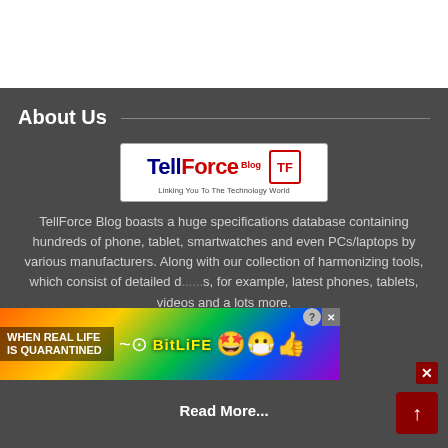About Us
[Figure (logo): TellForce Blog logo with tagline 'Linking You To The Technology World']
TellForce Blog boasts a huge specifications database containing hundreds of phone, tablet, smartwatches and even PCs/laptops by various manufacturers. Along with our collection of harmonizing tools, which consist of detailed d...s, for example, latest phones, tablets, videos and a lots more.
[Figure (other): Advertisement banner: 'WHEN REAL LIFE IS QUARANTINED' BitLife game ad with colorful rainbow background and close buttons]
Read More...